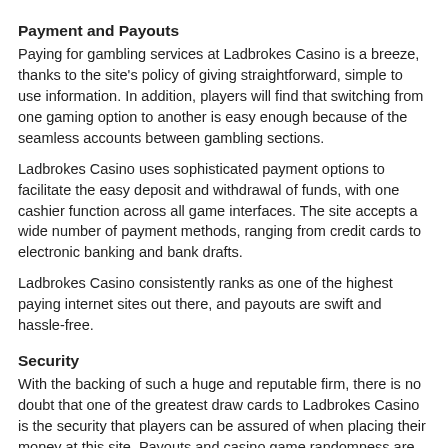Payment and Payouts
Paying for gambling services at Ladbrokes Casino is a breeze, thanks to the site's policy of giving straightforward, simple to use information. In addition, players will find that switching from one gaming option to another is easy enough because of the seamless accounts between gambling sections.
Ladbrokes Casino uses sophisticated payment options to facilitate the easy deposit and withdrawal of funds, with one cashier function across all game interfaces. The site accepts a wide number of payment methods, ranging from credit cards to electronic banking and bank drafts.
Ladbrokes Casino consistently ranks as one of the highest paying internet sites out there, and payouts are swift and hassle-free.
Security
With the backing of such a huge and reputable firm, there is no doubt that one of the greatest draw cards to Ladbrokes Casino is the security that players can be assured of when placing their money at this site. Payouts and casino game randomness are independently tested by a third party auditor and it is possible to verify game plays through the innovative 'PlayCheck' option.
The company stops at nothing when it comes to the latest security technology, combining firewalls with strong encryption and Secure